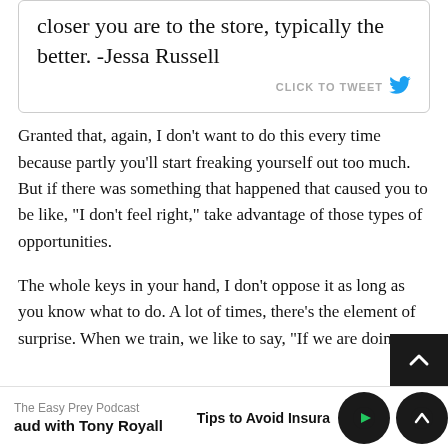closer you are to the store, typically the better. -Jessa Russell
Granted that, again, I don't want to do this every time because partly you'll start freaking yourself out too much. But if there was something that happened that caused you to be like, “I don’t feel right,” take advantage of those types of opportunities.
The whole keys in your hand, I don't oppose it as long as you know what to do. A lot of times, there’s the element of surprise. When we train, we like to say, “If we are doing
The Easy Prey Podcast | aud with Tony Royall | Tips to Avoid Insura